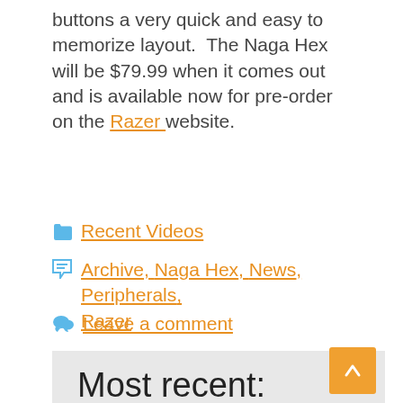buttons a very quick and easy to memorize layout.  The Naga Hex will be $79.99 when it comes out and is available now for pre-order on the Razer website.
Recent Videos
Archive, Naga Hex, News, Peripherals, Razer
Leave a comment
Most recent:
Top 10 Co-Op Games For 2018
Crossout
Hunter X Online